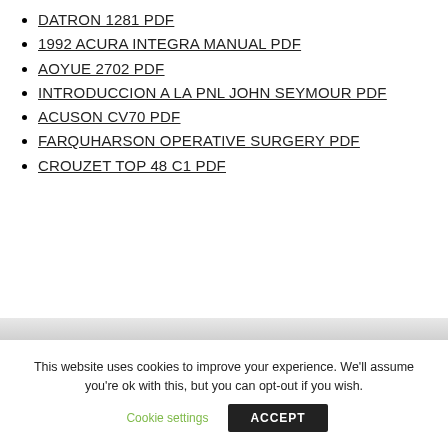DATRON 1281 PDF
1992 ACURA INTEGRA MANUAL PDF
AOYUE 2702 PDF
INTRODUCCION A LA PNL JOHN SEYMOUR PDF
ACUSON CV70 PDF
FARQUHARSON OPERATIVE SURGERY PDF
CROUZET TOP 48 C1 PDF
This website uses cookies to improve your experience. We'll assume you're ok with this, but you can opt-out if you wish.
Cookie settings
ACCEPT